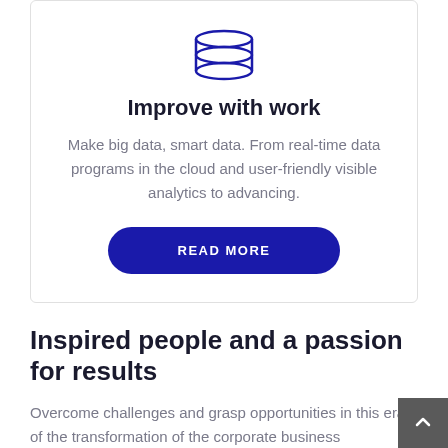[Figure (illustration): Database stack icon in dark navy blue outline style]
Improve with work
Make big data, smart data. From real-time data programs in the cloud and user-friendly visible analytics to advancing.
READ MORE
Inspired people and a passion for results
Overcome challenges and grasp opportunities in this era of the transformation of the corporate business